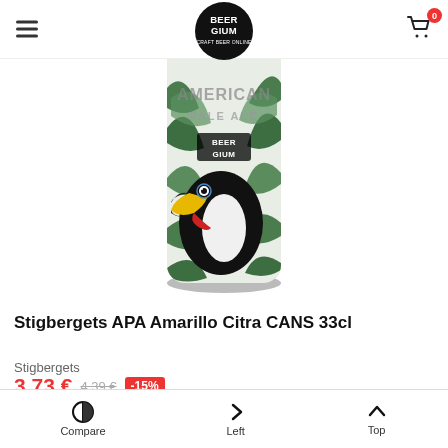BEER GIUM — header with hamburger menu, logo, and cart icon (0 items)
[Figure (photo): Beer can with toucan bird design labeled 'American Pale Ale' and 'Beer Gium' branding, with tropical green leaves background]
Stigbergets APA Amarillo Citra CANS 33cl
Stigbergets
3,73 € 4,39 € -15%
American Pale Ale
Compare   Left   Top